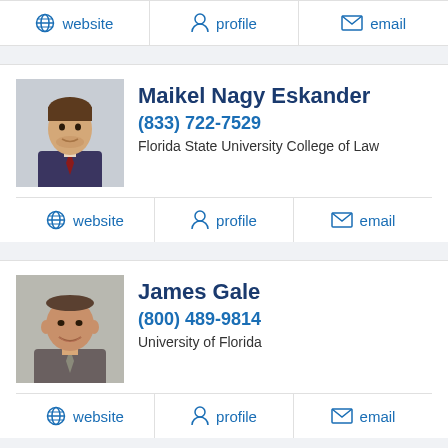website | profile | email (partial top card links)
[Figure (photo): Headshot of Maikel Nagy Eskander, young man in suit]
Maikel Nagy Eskander
(833) 722-7529
Florida State University College of Law
website | profile | email
[Figure (photo): Headshot of James Gale, middle-aged man smiling in suit]
James Gale
(800) 489-9814
University of Florida
website | profile | email
[Figure (photo): Headshot of Seth Daniel Lubin, man in suit]
Seth Daniel Lubin
(954) 660-3556